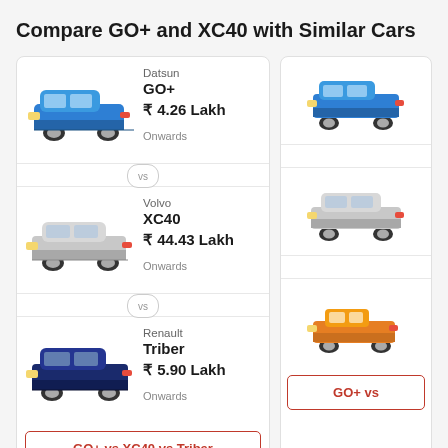Compare GO+ and XC40 with Similar Cars
[Figure (other): Car comparison card showing Datsun GO+, Volvo XC40, and Renault Triber with prices and a compare button]
[Figure (other): Partial second car comparison card showing GO+ vs another car with compare button partially visible]